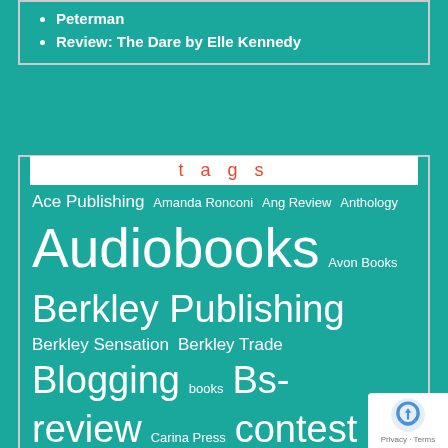Peterman
Review: The Dare by Elle Kennedy
tags
Ace Publishing  Amanda Ronconi  Ang Review  Anthology  Audiobooks  Avon Books  Berkley Publishing  Berkley Sensation  Berkley Trade  Blogging  books  Bs-review  Carina Press  contest  Decadent Publishing  fitness  G-U Review  goals  holidays  Ilona Andrews  Jeffe Kennedy  Jennifer Estep  Jennifer Review  Jen Review  Katie Reus  Larissa Ione  Meljean Brook  NAL  Nalini  Nima  Review  novella  Pocket Books  reading  Ri